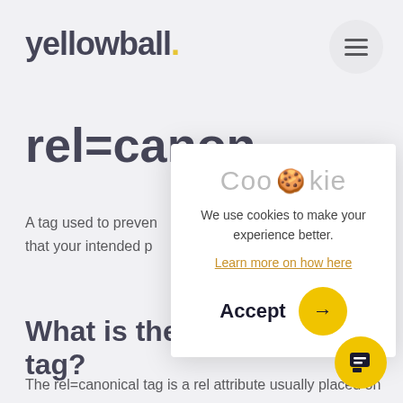yellowball.
rel=canon
A tag used to preven... that your intended p...
[Figure (screenshot): Cookie consent modal overlay with cookie emoji, text 'We use cookies to make your experience better.', a link 'Learn more on how here', and an Accept button with yellow arrow circle.]
What is the rel=canonical tag?
The rel=canonical tag is a rel attribute usually placed on